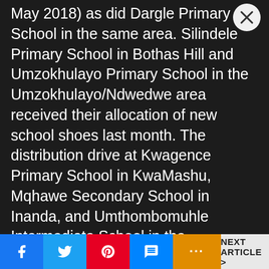May 2018) as did Dargle Primary School in the same area. Silindele Primary School in Bothas Hill and Umzokhulayo Primary School in the Umzokhulayo/Ndwedwe area received their allocation of new school shoes last month. The distribution drive at Kwagence Primary School in KwaMashu, Mqhawe Secondary School in Inanda, and Umthombomuhle Intermediate School in the Cliffdale/Hammersdale area will take place over the next few weeks.
The distribution of the pre-loved school shoes wrapped up at the end of last year following generous donations by 11 schools across the